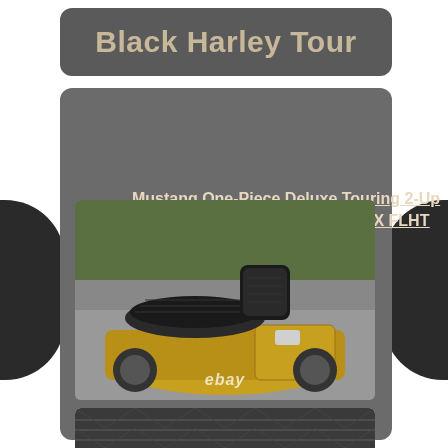Black Harley Tour
Mustang One-Piece Deluxe Touring 2-Up Seat 08-20 Harley Touring FLHX FLHT 79006
[Figure (photo): Photo of a Mustang one-piece deluxe touring 2-up seat installed on a gold Harley-Davidson touring motorcycle, with black seat and backrest visible. eBay watermark on the image.]
[Figure (photo): Partial view of a second product photo showing the seat close-up, cut off at the bottom of the page.]